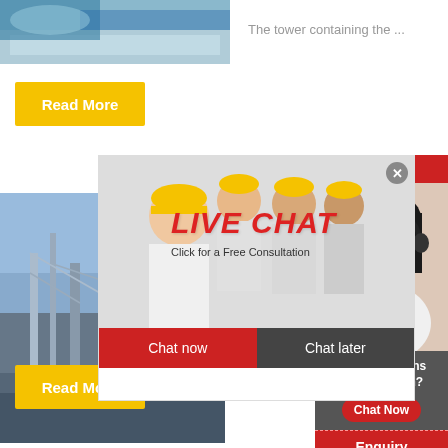[Figure (photo): Industrial/mining machinery with crushed stone, blue equipment visible]
The tower containing the ...
Read More
[Figure (photo): Industrial plant with steel structures and scaffolding]
[Figure (screenshot): Live chat popup with construction workers wearing yellow hard hats. Text: LIVE CHAT, Click for a Free Consultation. Buttons: Chat now, Chat later.]
2020-11-26
Read More
[Figure (screenshot): Right sidebar: 24Hrs Online header in red, photo of woman with headset, Need questions & suggestion? text in grey box, Chat Now button in red oval, Enquiry text, limingjlmofen text]
24Hrs Online
Need questions & suggestion?
Chat Now
Enquiry
limingjlmofen